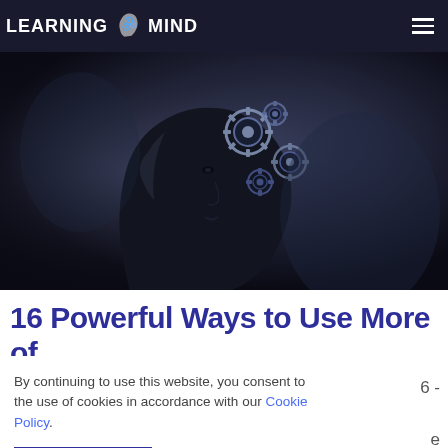LEARNING MIND
[Figure (photo): Dark moody silhouette of a human head profile facing right, with metallic gears visible inside the skull, representing the concept of the mind and thinking mechanisms. Black and white / blue-grey toned image.]
16 Powerful Ways to Use More of
By continuing to use this website, you consent to the use of cookies in accordance with our Cookie Policy.
ACCEPT